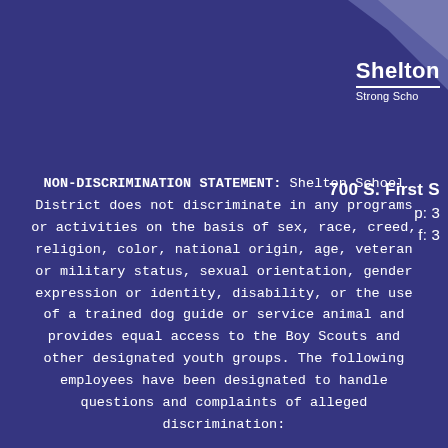[Figure (logo): Shelton School District logo with geometric bird/chevron graphic, text 'Shelton' in bold, double horizontal rule, and tagline 'Strong Scho...']
700 S. First S
p: 3
f: 3
NON-DISCRIMINATION STATEMENT: Shelton School District does not discriminate in any programs or activities on the basis of sex, race, creed, religion, color, national origin, age, veteran or military status, sexual orientation, gender expression or identity, disability, or the use of a trained dog guide or service animal and provides equal access to the Boy Scouts and other designated youth groups. The following employees have been designated to handle questions and complaints of alleged discrimination: